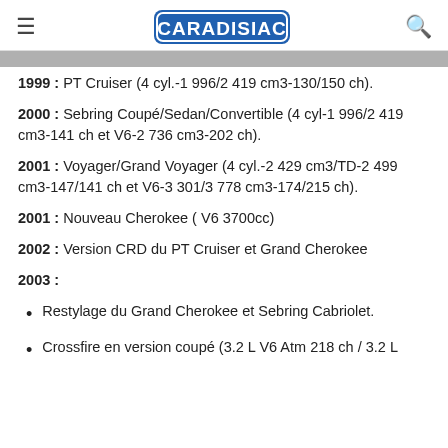CARADISIAC
1999 : PT Cruiser (4 cyl.-1 996/2 419 cm3-130/150 ch).
2000 : Sebring Coupé/Sedan/Convertible (4 cyl-1 996/2 419 cm3-141 ch et V6-2 736 cm3-202 ch).
2001 : Voyager/Grand Voyager (4 cyl.-2 429 cm3/TD-2 499 cm3-147/141 ch et V6-3 301/3 778 cm3-174/215 ch).
2001 : Nouveau Cherokee ( V6 3700cc)
2002 : Version CRD du PT Cruiser et Grand Cherokee
2003 :
Restylage du Grand Cherokee et Sebring Cabriolet.
Crossfire en version coupé (3.2 L V6 Atm 218 ch / 3.2 L